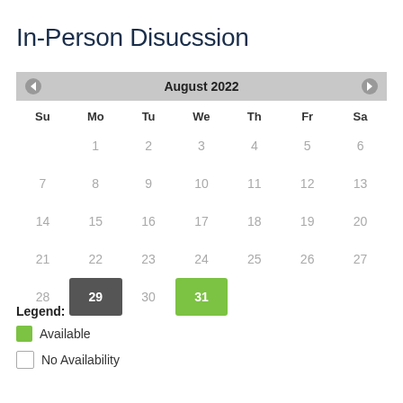In-Person Disucssion
[Figure (other): Interactive calendar showing August 2022 with August 29 highlighted in dark gray (today) and August 31 highlighted in green (available). Navigation arrows on left and right of header. Days of week Su Mo Tu We Th Fr Sa shown.]
Legend:
Available
No Availability